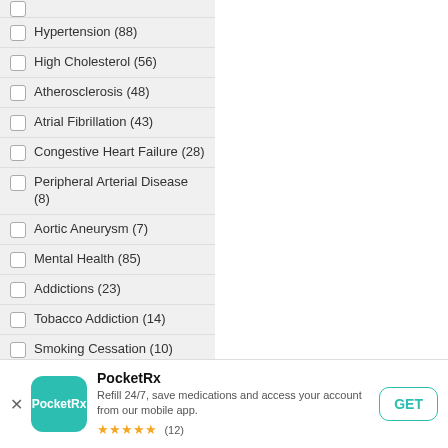Hypertension (88)
High Cholesterol (56)
Atherosclerosis (48)
Atrial Fibrillation (43)
Congestive Heart Failure (28)
Peripheral Arterial Disease (8)
Aortic Aneurysm (7)
Mental Health (85)
Addictions (23)
Tobacco Addiction (14)
Smoking Cessation (10)
Alcohol Addiction (9)
Drug Addiction (2)
Depression (18)
PocketRx - Refill 24/7, save medications and access your account from our mobile app. ★★★★★ (12) GET